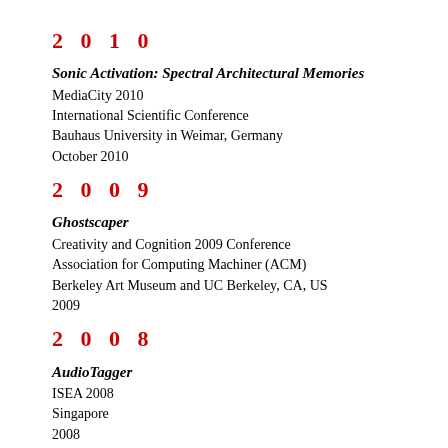2 0 1 0
Sonic Activation: Spectral Architectural Memories
MediaCity 2010
International Scientific Conference
Bauhaus University in Weimar, Germany
October 2010
2 0 0 9
Ghostscaper
Creativity and Cognition 2009 Conference
Association for Computing Machiner (ACM)
Berkeley Art Museum and UC Berkeley, CA, US
2009
2 0 0 8
AudioTagger
ISEA 2008
Singapore
2008
2 0 0 7
Sound Art, Performance and Technology